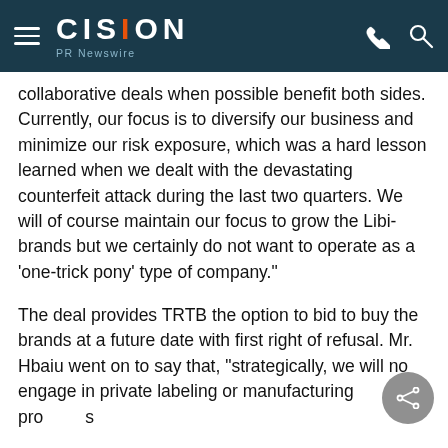CISION PR Newswire
collaborative deals when possible benefit both sides. Currently, our focus is to diversify our business and minimize our risk exposure, which was a hard lesson learned when we dealt with the devastating counterfeit attack during the last two quarters. We will of course maintain our focus to grow the Libi-brands but we certainly do not want to operate as a 'one-trick pony' type of company."
The deal provides TRTB the option to bid to buy the brands at a future date with first right of refusal. Mr. Hbaiu went on to say that, "strategically, we will not engage in private labeling or manufacturing prods for our competitors if we do not have a competitive...